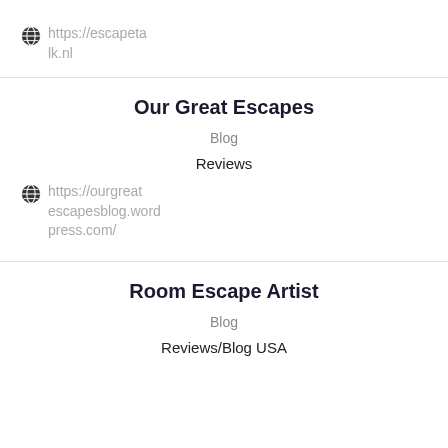https://escapetalk.nl
Our Great Escapes
Blog
Reviews
https://ourgreateescapesblog.wordpress.com/
Room Escape Artist
Blog
Reviews/Blog USA